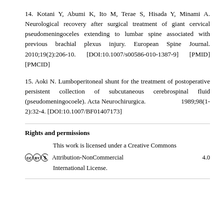14. Kotani Y, Abumi K, Ito M, Terae S, Hisada Y, Minami A. Neurological recovery after surgical treatment of giant cervical pseudomeningoceles extending to lumbar spine associated with previous brachial plexus injury. European Spine Journal. 2010;19(2):206-10. [DOI:10.1007/s00586-010-1387-9] [PMID] [PMCID]
15. Aoki N. Lumboperitoneal shunt for the treatment of postoperative persistent collection of subcutaneous cerebrospinal fluid (pseudomeningocoele). Acta Neurochirurgica. 1989;98(1-2):32-4. [DOI:10.1007/BF01407173]
Rights and permissions
This work is licensed under a Creative Commons Attribution-NonCommercial 4.0 International License.